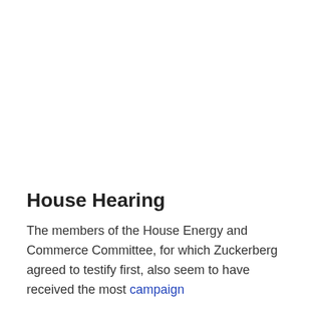House Hearing
The members of the House Energy and Commerce Committee, for which Zuckerberg agreed to testify first, also seem to have received the most campaign